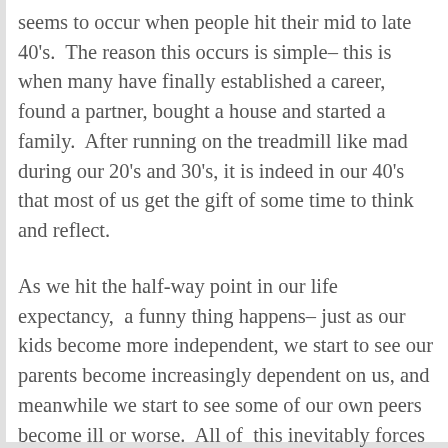seems to occur when people hit their mid to late 40's.  The reason this occurs is simple– this is when many have finally established a career, found a partner, bought a house and started a family.  After running on the treadmill like mad during our 20's and 30's, it is indeed in our 40's that most of us get the gift of some time to think and reflect.
As we hit the half-way point in our life expectancy,  a funny thing happens– just as our kids become more independent, we start to see our parents become increasingly dependent on us, and meanwhile we start to see some of our own peers become ill or worse.  All of  this inevitably forces us to face our own mortality and